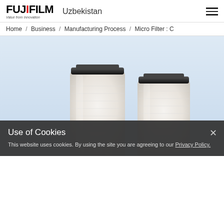FUJIFILM Uzbekistan
Home / Business / Manufacturing Process / Micro Filter : C
[Figure (photo): Two white cylindrical micro filter cartridges with black O-ring caps on a light blue gradient background. The product is labeled as PSP Cartridge UXL/SXL.]
Use of Cookies
This website uses cookies. By using the site you are agreeing to our Privacy Policy.
PSP Cartridge UXL/SXL